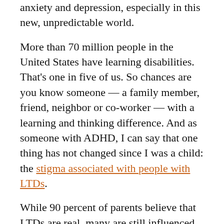Kids with LTDs are more likely to experience anxiety and depression, especially in this new, unpredictable world.
More than 70 million people in the United States have learning disabilities. That's one in five of us. So chances are you know someone — a family member, friend, neighbor or co-worker — with a learning and thinking difference. And as someone with ADHD, I can say that one thing has not changed since I was a child: the stigma associated with people with LTDs.
While 90 percent of parents believe that LTDs are real, many are still influenced by myths, stigmas and false narratives about LTDs. According to our Understood.org Neurodiversity and Stigma Study, nearly one-third of parents falsely believe that the school system contributes to a child